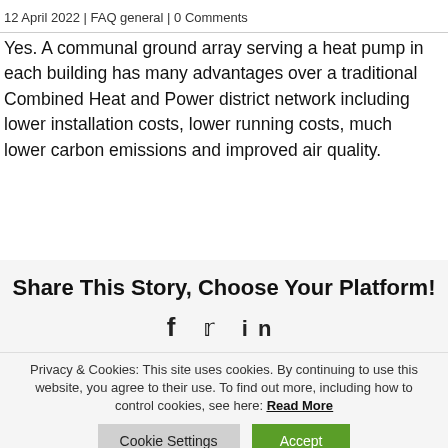12 April 2022 | FAQ general | 0 Comments
Yes. A communal ground array serving a heat pump in each building has many advantages over a traditional Combined Heat and Power district network including lower installation costs, lower running costs, much lower carbon emissions and improved air quality.
Share This Story, Choose Your Platform!
f  🐦  in
Privacy & Cookies: This site uses cookies. By continuing to use this website, you agree to their use. To find out more, including how to control cookies, see here: Read More
Cookie Settings   Accept